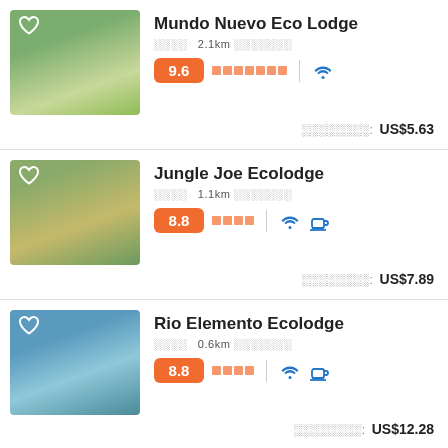[Figure (photo): Thumbnail photo of Mundo Nuevo Eco Lodge with green landscape]
Mundo Nuevo Eco Lodge
2.1km
9.6
US$5.63
[Figure (photo): Thumbnail photo of Jungle Joe Ecolodge with bamboo hut]
Jungle Joe Ecolodge
1.1km
8.8
US$7.89
[Figure (photo): Thumbnail photo of Rio Elemento Ecolodge with pool]
Rio Elemento Ecolodge
0.6km
8.8
US$12.28